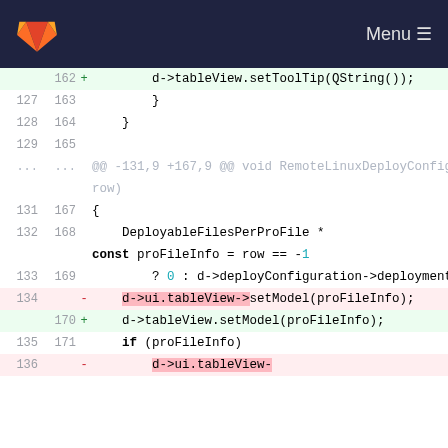[Figure (screenshot): GitLab diff view showing code changes in a C++ file. Header is dark navy with GitLab logo and Menu button. The diff shows line numbers and code changes with added lines (green) and removed lines (red).]
Code diff showing changes to RemoteLinuxDeployConfigurationWidget::set... function. Lines 127-136 (old) and 162-171 (new) are shown. Changes replace d->ui.tableView->setModel() with d->tableView.setModel() and d->ui.tableView->.